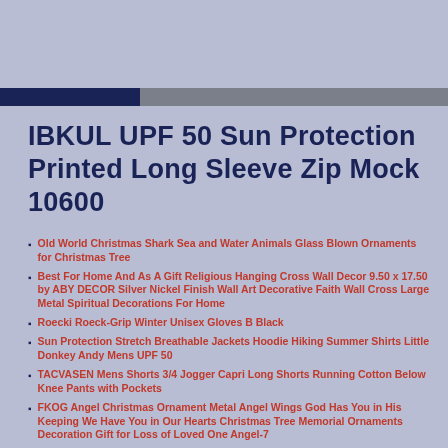IBKUL UPF 50 Sun Protection Printed Long Sleeve Zip Mock 10600
Old World Christmas Shark Sea and Water Animals Glass Blown Ornaments for Christmas Tree
Best For Home And As A Gift Religious Hanging Cross Wall Decor 9.50 x 17.50 by ABY DECOR Silver Nickel Finish Wall Art Decorative Faith Wall Cross Large Metal Spiritual Decorations For Home
Roecki Roeck-Grip Winter Unisex Gloves B Black
Sun Protection Stretch Breathable Jackets Hoodie Hiking Summer Shirts Little Donkey Andy Mens UPF 50
TACVASEN Mens Shorts 3/4 Jogger Capri Long Shorts Running Cotton Below Knee Pants with Pockets
FKOG Angel Christmas Ornament Metal Angel Wings God Has You in His Keeping We Have You in Our Hearts Christmas Tree Memorial Ornaments Decoration Gift for Loss of Loved One Angel-7
Tracksuit Sports Outfit Sets Ribbed High Waist Legging+Bra Cloth Sets Jetjoy Workout Sets for Women 2 Pieces
Adoretex Boys/Mens Side Wings Swim Jammer Swimsuit
Scubadonkey Hisea Surfing Wetsuit for Men 1.5 mm Neoprene